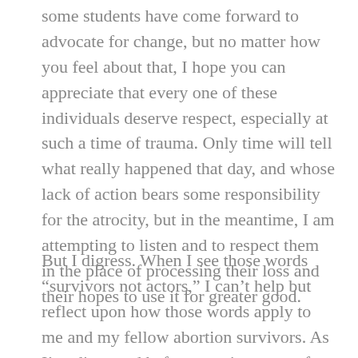some students have come forward to advocate for change, but no matter how you feel about that, I hope you can appreciate that every one of these individuals deserve respect, especially at such a time of trauma. Only time will tell what really happened that day, and whose lack of action bears some responsibility for the atrocity, but in the meantime, I am attempting to listen and to respect them in the place of processing their loss and their hopes to use it for greater good.
But I digress. When I see those words “survivors not actors,” I can’t help but reflect upon how those words apply to me and my fellow abortion survivors. As I’ve discussed before, survivors are often met with great resistance in our world. Our stories are met with incredulousness, our integrity is questioned, and no matter the extent of medical information we possess about our experiences and even admissions by our